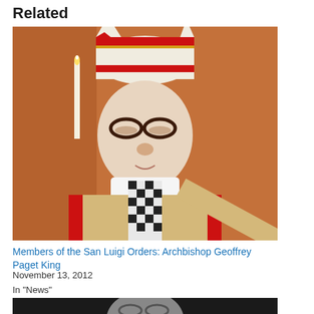Related
[Figure (photo): Elderly man in religious vestments wearing red-trimmed white mitre and glasses, with a checkered stole and a candle visible in the background]
Members of the San Luigi Orders: Archbishop Geoffrey Paget King
November 13, 2012
In "News"
[Figure (photo): Partial photo of another person at the bottom of the page]